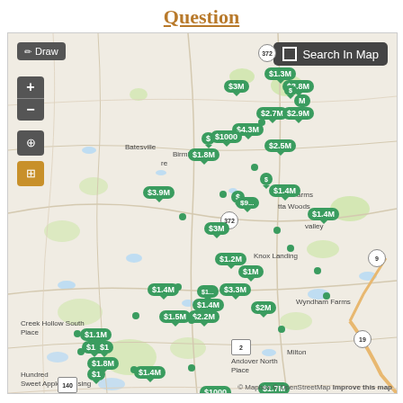Question
[Figure (map): Interactive real estate map showing property listings with price bubbles (ranging from $1000 to $4.3M) overlaid on a street map of the Milton/Alpharetta, Georgia area including areas like Batesville, Knox Landing, Wyndham Farms, Andover North, Sweet Apple Crossing, and CRABAPPLE. Map controls include Draw, zoom +/-, compass, and layers buttons. Search In Map button visible in top right.]